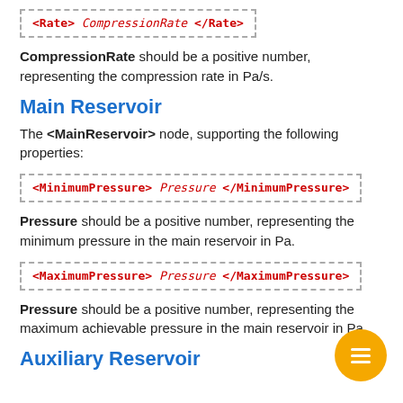<Rate> CompressionRate </Rate>
CompressionRate should be a positive number, representing the compression rate in Pa/s.
Main Reservoir
The <MainReservoir> node, supporting the following properties:
<MinimumPressure> Pressure </MinimumPressure>
Pressure should be a positive number, representing the minimum pressure in the main reservoir in Pa.
<MaximumPressure> Pressure </MaximumPressure>
Pressure should be a positive number, representing the maximum achievable pressure in the main reservoir in Pa.
Auxiliary Reservoir